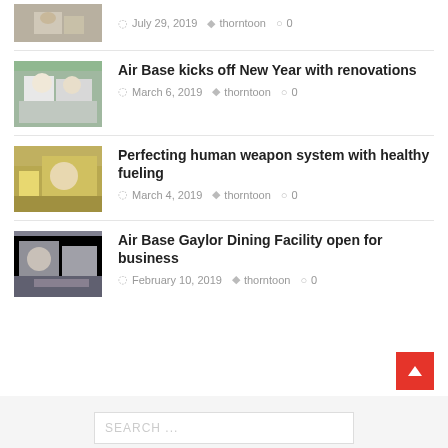[Figure (photo): Thumbnail of military/food service related image]
July 29, 2019  thorntoon  0
[Figure (photo): Photo of chefs/kitchen workers in white uniforms]
Air Base kicks off New Year with renovations
March 6, 2019  thorntoon  0
[Figure (photo): Photo of food service worker in military dining facility]
Perfecting human weapon system with healthy fueling
March 4, 2019  thorntoon  0
[Figure (photo): Photo of dining facility food service]
Air Base Gaylor Dining Facility open for business
February 10, 2019  thorntoon  0